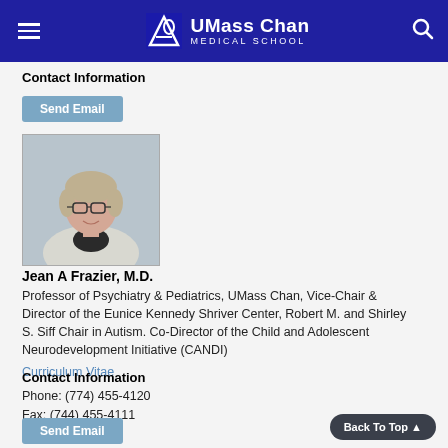UMass Chan Medical School
Contact Information
Send Email
[Figure (photo): Headshot of Jean A Frazier, M.D. — a woman with short gray-blonde hair and glasses wearing a light blazer]
Jean A Frazier, M.D.
Professor of Psychiatry & Pediatrics, UMass Chan, Vice-Chair & Director of the Eunice Kennedy Shriver Center, Robert M. and Shirley S. Siff Chair in Autism. Co-Director of the Child and Adolescent Neurodevelopment Initiative (CANDI)
Curriculum Vitae
Contact Information
Phone: (774) 455-4120
Fax: (744) 455-4111
Send Email
Back To Top ▲